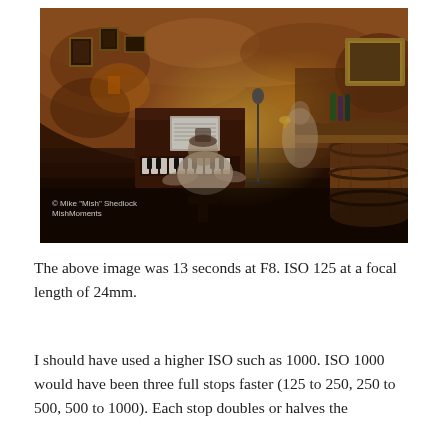[Figure (photo): A dimly lit cave or cellar bar/restaurant with a pianist playing at an upright piano in the center. The walls are rough stone/rock. A wine barrel is on the right side. Another person stands near a bar area in the background. Small framed pictures hang on the cave walls. Warm amber lighting. Watermark reads: © Mike 'Mish' Shedlock / MishMoments]
The above image was 13 seconds at F8. ISO 125 at a focal length of 24mm.
I should have used a higher ISO such as 1000. ISO 1000 would have been three full stops faster (125 to 250, 250 to 500, 500 to 1000). Each stop doubles or halves the